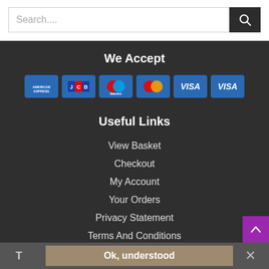Search....
We Accept
[Figure (other): Payment card icons: American Express, JCB, Maestro, MasterCard, VISA, VISA on blue backgrounds]
Useful Links
View Basket
Checkout
My Account
Your Orders
Privacy Statement
Terms And Conditions
About Us
FAQ
Ok, understood